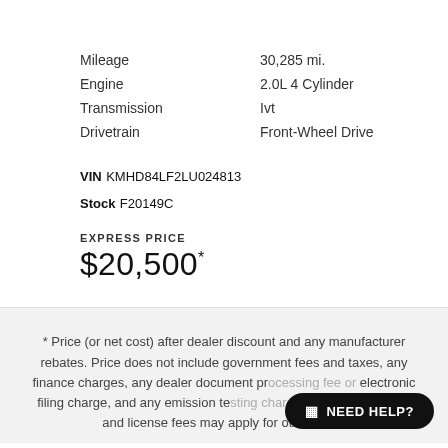| Mileage | 30,285 mi. |
| Engine | 2.0L 4 Cylinder |
| Transmission | Ivt |
| Drivetrain | Front-Wheel Drive |
VIN KMHD84LF2LU024813
Stock F20149C
EXPRESS PRICE
$20,500*
* Price (or net cost) after dealer discount and any manufacturer rebates. Price does not include government fees and taxes, any finance charges, any dealer document pr... electronic filing charge, and any emission t... taxes, registration and license fees may apply for out of state